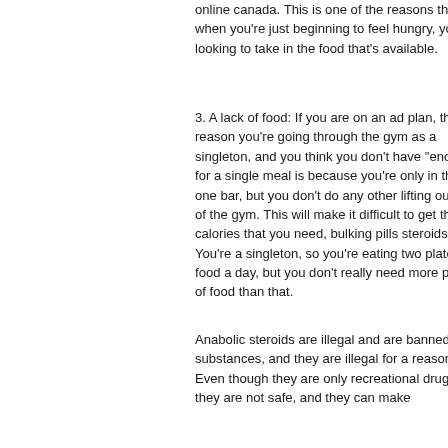online canada. This is one of the reasons that when you're just beginning to feel hungry, you are looking to take in the food that's available.
3. A lack of food: If you are on an ad plan, the reason you're going through the gym as a singleton, and you think you don't have "enough" for a single meal is because you're only in that one bar, but you don't do any other lifting outside of the gym. This will make it difficult to get the calories that you need, bulking pills steroids0. You're a singleton, so you're eating two plates of food a day, but you don't really need more plates of food than that.
Anabolic steroids are illegal and are banned substances, and they are illegal for a reason. Even though they are only recreational drugs, they are not safe, and they can make